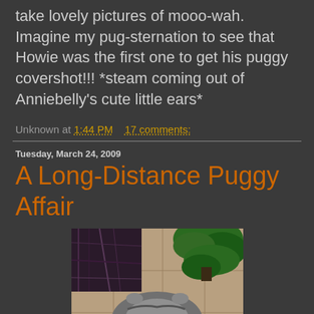take lovely pictures of mooo-wah. Imagine my pug-sternation to see that Howie was the first one to get his puggy covershot!!! *steam coming out of Anniebelly's cute little ears*
Unknown at 1:44 PM   17 comments:
Tuesday, March 24, 2009
A Long-Distance Puggy Affair
[Figure (photo): A pug dog lying on its back on a tiled floor, with a green plant visible in the upper right and a person's legs/feet in the upper left. The pug appears to be relaxed, belly up.]